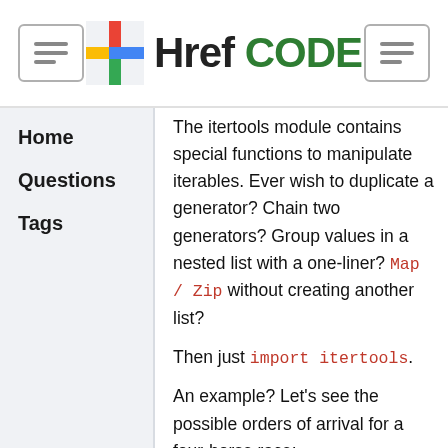Href CODE
Home
Questions
Tags
The itertools module contains special functions to manipulate iterables. Ever wish to duplicate a generator? Chain two generators? Group values in a nested list with a one-liner? Map / Zip without creating another list?
Then just import itertools.
An example? Let's see the possible orders of arrival for a four-horse race:
>>> horses = [1, 2, 3, 4]
>>> races = itertools.per
>>> print(races)